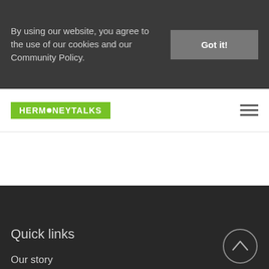By using our website, you agree to the use of our cookies and our Community Policy.
Got it!
[Figure (logo): HerMoneyTalks logo — white text on green background with a circular bullet replacing the O in MONEY]
[Figure (other): Hamburger menu icon — three horizontal lines]
Quick links
Our story